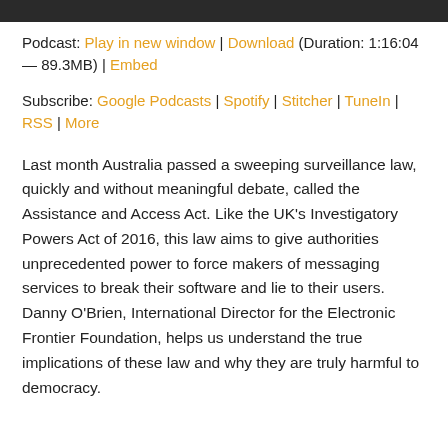[Figure (other): Dark banner/header bar at top of page]
Podcast: Play in new window | Download (Duration: 1:16:04 — 89.3MB) | Embed
Subscribe: Google Podcasts | Spotify | Stitcher | TuneIn | RSS | More
Last month Australia passed a sweeping surveillance law, quickly and without meaningful debate, called the Assistance and Access Act. Like the UK's Investigatory Powers Act of 2016, this law aims to give authorities unprecedented power to force makers of messaging services to break their software and lie to their users. Danny O'Brien, International Director for the Electronic Frontier Foundation, helps us understand the true implications of these law and why they are truly harmful to democracy.